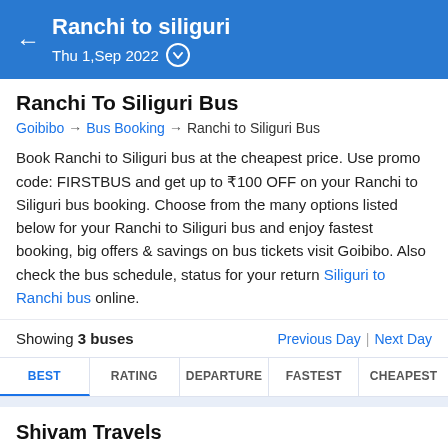Ranchi to siliguri — Thu 1,Sep 2022
Ranchi To Siliguri Bus
Goibibo → Bus Booking → Ranchi to Siliguri Bus
Book Ranchi to Siliguri bus at the cheapest price. Use promo code: FIRSTBUS and get up to ₹100 OFF on your Ranchi to Siliguri bus booking. Choose from the many options listed below for your Ranchi to Siliguri bus and enjoy fastest booking, big offers & savings on bus tickets visit Goibibo. Also check the bus schedule, status for your return Siliguri to Ranchi bus online.
Showing 3 buses
Previous Day | Next Day
BEST | RATING | DEPARTURE | FASTEST | CHEAPEST
Shivam Travels — A/C Seater / Sleeper (2+1) — 3.2/5 — 51 Reviews